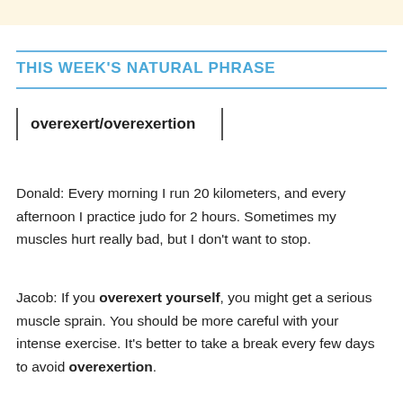THIS WEEK'S NATURAL PHRASE
overexert/overexertion
Donald: Every morning I run 20 kilometers, and every afternoon I practice judo for 2 hours. Sometimes my muscles hurt really bad, but I don't want to stop.
Jacob: If you overexert yourself, you might get a serious muscle sprain. You should be more careful with your intense exercise. It's better to take a break every few days to avoid overexertion.